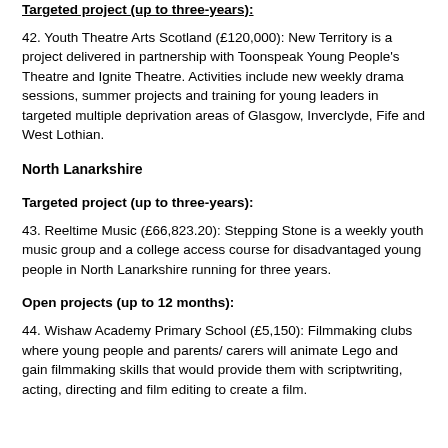Targeted project (up to three-years):
42. Youth Theatre Arts Scotland (£120,000): New Territory is a project delivered in partnership with Toonspeak Young People's Theatre and Ignite Theatre. Activities include new weekly drama sessions, summer projects and training for young leaders in targeted multiple deprivation areas of Glasgow, Inverclyde, Fife and West Lothian.
North Lanarkshire
Targeted project (up to three-years):
43. Reeltime Music (£66,823.20): Stepping Stone is a weekly youth music group and a college access course for disadvantaged young people in North Lanarkshire running for three years.
Open projects (up to 12 months):
44. Wishaw Academy Primary School (£5,150): Filmmaking clubs where young people and parents/ carers will animate Lego and gain filmmaking skills that would provide them with scriptwriting, acting, directing and film editing to create a film.